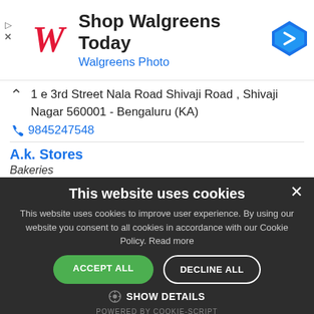[Figure (screenshot): Walgreens advertisement banner with logo, 'Shop Walgreens Today' title, 'Walgreens Photo' subtitle, and a blue navigation arrow icon]
1 e 3rd Street Nala Road Shivaji Road , Shivaji Nagar 560001 - Bengaluru (KA)
9845247548
A.k. Stores
Bakeries
Main Road , New Thippasandra 560075 - Bengaluru
This website uses cookies
This website uses cookies to improve user experience. By using our website you consent to all cookies in accordance with our Cookie Policy. Read more
ACCEPT ALL
DECLINE ALL
SHOW DETAILS
POWERED BY COOKIE-SCRIPT